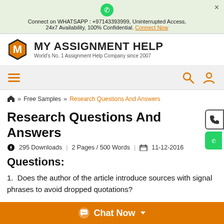Connect on WHATSAPP : +97143393999, Uninterrupted Access, 24x7 Availability, 100% Confidential. Connect Now
[Figure (logo): My Assignment Help logo with orange hexagon M and bold text]
[Figure (screenshot): Navigation bar with hamburger menu, search and user icons]
Home >> Free Samples >> Research Questions And Answers
Research Questions And Answers
295 Downloads | 2 Pages / 500 Words | 11-12-2016
Questions:
1. Does the author of the article introduce sources with signal phrases to avoid dropped quotations?
Chat Now